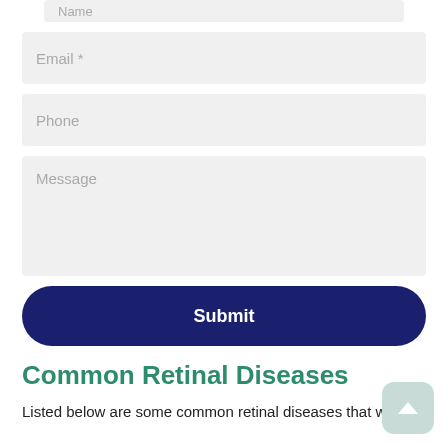[Figure (screenshot): Partial contact form field labeled 'Name' at top of page (cropped)]
Email *
Phone
Message
Submit
Common Retinal Diseases
Listed below are some common retinal diseases that we